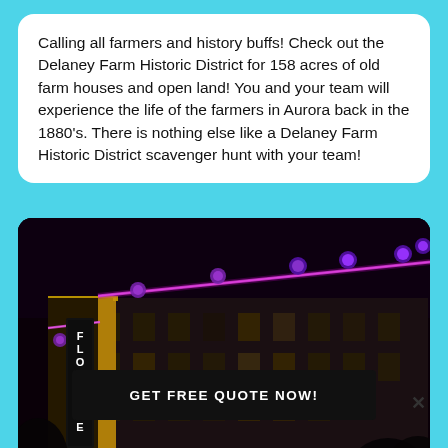Calling all farmers and history buffs! Check out the Delaney Farm Historic District for 158 acres of old farm houses and open land! You and your team will experience the life of the farmers in Aurora back in the 1880's. There is nothing else like a Delaney Farm Historic District scavenger hunt with your team!
[Figure (photo): Nighttime photo of the Florence building with purple and pink neon lights along the roofline. The vertical FLORENCE sign is lit up on the left side of the building. Trees and street lights visible in the foreground.]
GET FREE QUOTE NOW!